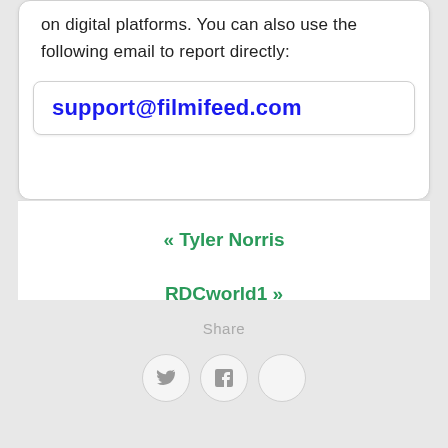on digital platforms. You can also use the following email to report directly:
support@filmifeed.com
« Tyler Norris
RDCworld1 »
Share